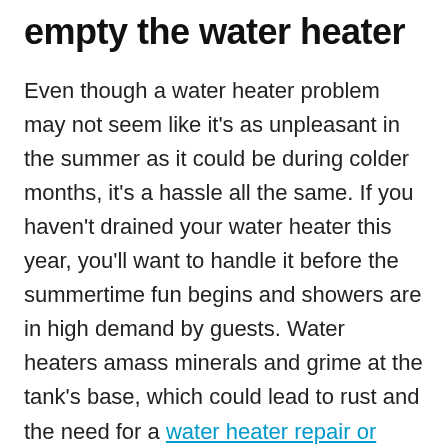empty the water heater
Even though a water heater problem may not seem like it's as unpleasant in the summer as it could be during colder months, it's a hassle all the same. If you haven't drained your water heater this year, you'll want to handle it before the summertime fun begins and showers are in high demand by guests. Water heaters amass minerals and grime at the tank's base, which could lead to rust and the need for a water heater repair or replacement. A certified plumber can complete this simple task for you while also resolving other maintenance items.
“A lot of these inspections may seem like common